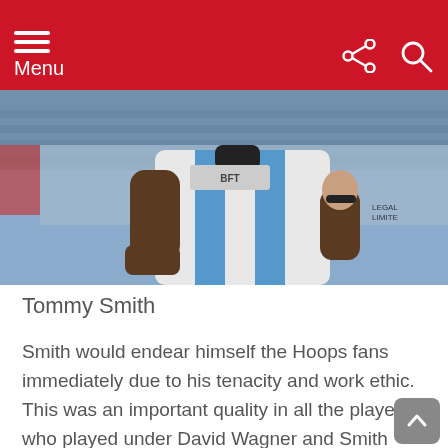Menu
[Figure (photo): A football player wearing a blue and white striped jersey (Huddersfield Town kit) with sponsors visible including BFT and Legal Limited. Stadium seating visible in background with fans.]
Tommy Smith
Smith would endear himself the Hoops fans immediately due to his tenacity and work ethic. This was an important quality in all the players who played under David Wagner and Smith should be no different under another manager.
Celtic are going through a phase of transition themselves and will be hoping it goes smoothly, with Steven Gerrard and his Rangers side looking to knock